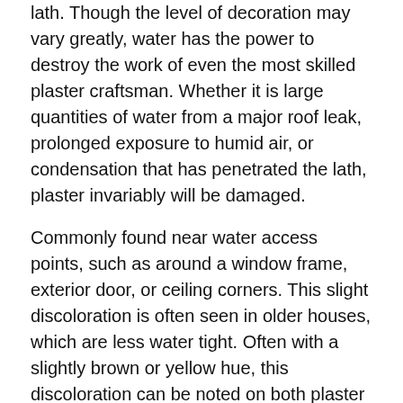lath. Though the level of decoration may vary greatly, water has the power to destroy the work of even the most skilled plaster craftsman. Whether it is large quantities of water from a major roof leak, prolonged exposure to humid air, or condensation that has penetrated the lath, plaster invariably will be damaged.
Commonly found near water access points, such as around a window frame, exterior door, or ceiling corners. This slight discoloration is often seen in older houses, which are less water tight. Often with a slightly brown or yellow hue, this discoloration can be noted on both plaster and any wall coverings placed over affected plaster, such as wallpaper or fabric.
Concrete Block
Efflorescence are the salt deposits left behind when water permeates masonry, such as concrete blocks, brick, stone, and stucco. Simply removing the salt